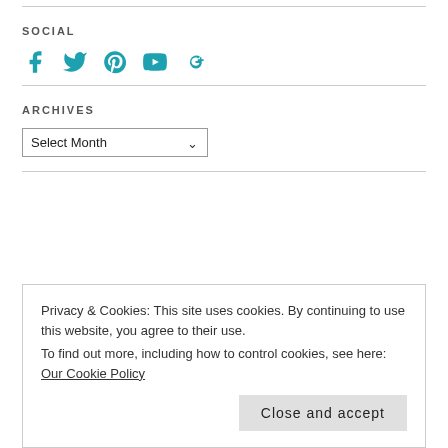SOCIAL
[Figure (other): Social media icons: Facebook, Twitter, Pinterest, YouTube, Google+]
ARCHIVES
Select Month (dropdown)
Privacy & Cookies: This site uses cookies. By continuing to use this website, you agree to their use. To find out more, including how to control cookies, see here: Our Cookie Policy
Close and accept